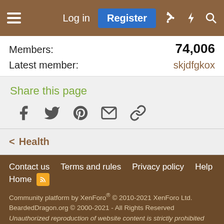Log in | Register
Members: 74,006
Latest member: skjdfgkox
Share this page
[Figure (other): Social share icons: Facebook, Twitter, Pinterest, Email, Link]
< Health
Contact us  Terms and rules  Privacy policy  Help  Home  Community platform by XenForo® © 2010-2021 XenForo Ltd.  BeardedDragon.org © 2000-2021 - All Rights Reserved  Unauthorized reproduction of website content is strictly prohibited